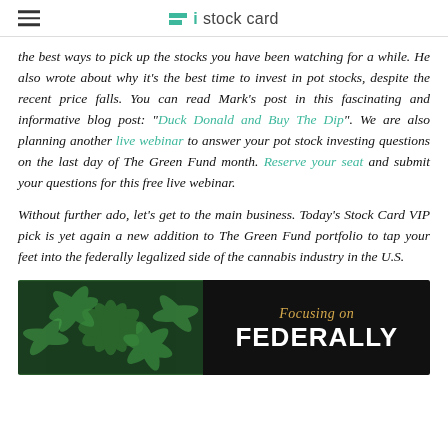stock card
the best ways to pick up the stocks you have been watching for a while. He also wrote about why it's the best time to invest in pot stocks, despite the recent price falls. You can read Mark's post in this fascinating and informative blog post: "Duck Donald and Buy The Dip". We are also planning another live webinar to answer your pot stock investing questions on the last day of The Green Fund month. Reserve your seat and submit your questions for this free live webinar.
Without further ado, let's get to the main business. Today's Stock Card VIP pick is yet again a new addition to The Green Fund portfolio to tap your feet into the federally legalized side of the cannabis industry in the U.S.
[Figure (photo): Photo of cannabis leaves on the left half with a dark background on the right half showing italic gold text 'Focusing on' and bold white text 'FEDERALLY']